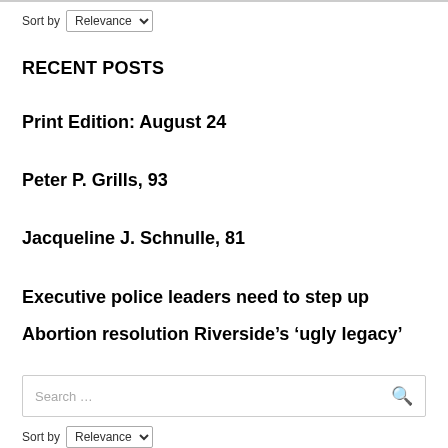Sort by Relevance
RECENT POSTS
Print Edition: August 24
Peter P. Grills, 93
Jacqueline J. Schnulle, 81
Executive police leaders need to step up
Abortion resolution Riverside’s ‘ugly legacy’
Search …
Sort by Relevance